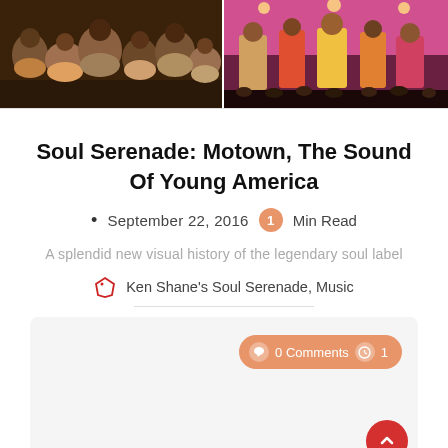[Figure (photo): Two performance photos side by side: left shows a group of people seated/gathered in casual clothing with warm tones; right shows a stage performance with colorful costumes and a pink/purple backdrop.]
Soul Serenade: Motown, The Sound Of Young America
• September 22, 2016  1 Min Read
A splendid new visual history of the legendary soul label
Ken Shane's Soul Serenade, Music
0 Comments  1